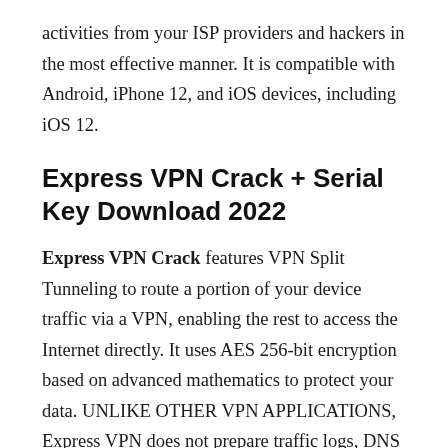activities from your ISP providers and hackers in the most effective manner. It is compatible with Android, iPhone 12, and iOS devices, including iOS 12.
Express VPN Crack + Serial Key Download 2022
Express VPN Crack features VPN Split Tunneling to route a portion of your device traffic via a VPN, enabling the rest to access the Internet directly. It uses AES 256-bit encryption based on advanced mathematics to protect your data. UNLIKE OTHER VPN APPLICATIONS, Express VPN does not prepare traffic logs, DNS queries, or anything related to your identity. Hiding your real IP with secure VPN servers masks your IP address and location.